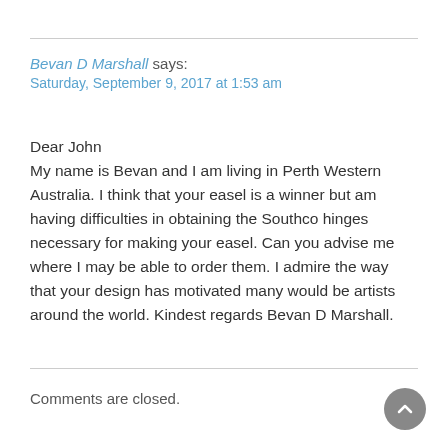Bevan D Marshall says:
Saturday, September 9, 2017 at 1:53 am
Dear John
My name is Bevan and I am living in Perth Western Australia. I think that your easel is a winner but am having difficulties in obtaining the Southco hinges necessary for making your easel. Can you advise me where I may be able to order them. I admire the way that your design has motivated many would be artists around the world. Kindest regards Bevan D Marshall.
Comments are closed.